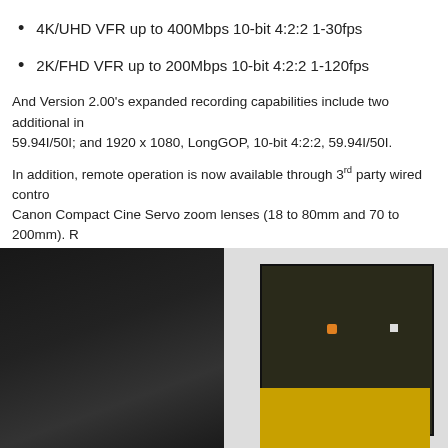4K/UHD VFR up to 400Mbps 10-bit 4:2:2 1-30fps
2K/FHD VFR up to 200Mbps 10-bit 4:2:2 1-120fps
And Version 2.00's expanded recording capabilities include two additional in 59.94I/50I; and 1920 x 1080, LongGOP, 10-bit 4:2:2, 59.94I/50I.
In addition, remote operation is now available through 3rd party wired contro Canon Compact Cine Servo zoom lenses (18 to 80mm and 70 to 200mm). R wirelessly through the EVA ROP application. Interval recording (timelapse) is
For monitoring, a new feature is partial cloning of the LCD sign playback in LongGOP and ALL-I. There are also new Home scre
[Figure (photo): A camera or electronic equipment photographed in low light, showing a dark camera body on the left, a white/grey card or panel in the center, and a monitor or screen frame on the right with orange and white indicator dots, and yellow equipment visible at the bottom right.]